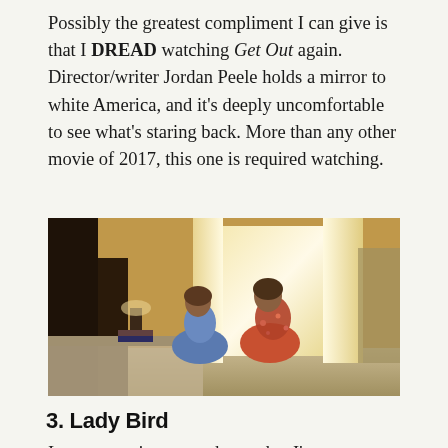Possibly the greatest compliment I can give is that I DREAD watching Get Out again. Director/writer Jordan Peele holds a mirror to white America, and it's deeply uncomfortable to see what's staring back. More than any other movie of 2017, this one is required watching.
[Figure (photo): Two young women sitting on a bed in a warmly lit hotel or motel room, facing away from camera toward a window with curtains, one in a blue shirt and one in a floral top]
3. Lady Bird
It may surprise you to know that I'm not an adolescent girl attending a Catholic high school. Even so, Lady Bird felt just